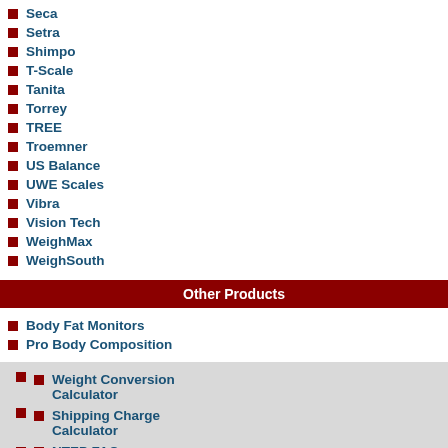Seca
Setra
Shimpo
T-Scale
Tanita
Torrey
TREE
Troemner
US Balance
UWE Scales
Vibra
Vision Tech
WeighMax
WeighSouth
Other Products
Body Fat Monitors
Pro Body Composition
Weight Conversion Calculator
Shipping Charge Calculator
NTEP FAQ
IP FAQ
Rice Lake RL-MPS-10 M... SKU: 124223 Capacity x Readability : 440... More Info
Rice Lake RL-MPS Medi... SKU: 102613 Capacity x Readability : 440... More Info
Rice Lake RL-MPS-20 M... SKU: 124222 Capacity x Readability : 440... More Info
Rice Lake RL-MPS-50 M... kg x 100 g SKU: 195264 Capacity x Readability : 450... More Info
Rice Lake RL-MPS-40 M... x 100 g